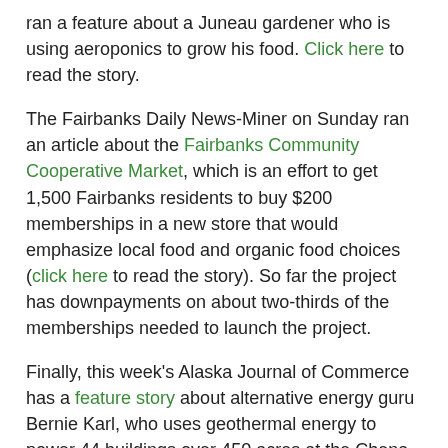ran a feature about a Juneau gardener who is using aeroponics to grow his food. Click here to read the story.
The Fairbanks Daily News-Miner on Sunday ran an article about the Fairbanks Community Cooperative Market, which is an effort to get 1,500 Fairbanks residents to buy $200 memberships in a new store that would emphasize local food and organic food choices (click here to read the story). So far the project has downpayments on about two-thirds of the memberships needed to launch the project.
Finally, this week's Alaska Journal of Commerce has a feature story about alternative energy guru Bernie Karl, who uses geothermal energy to power 44 buildings over 450 acres at the Chena Hot Springs Resort, including the resort's large greenhouses that can grow about 150,000 to 175,000 heads of lettuce a year and other crops. Click here to read more about the Chena Hot Springs Resort greenhouses and how they can be a good model for the Sitka Community Greenhouse project.